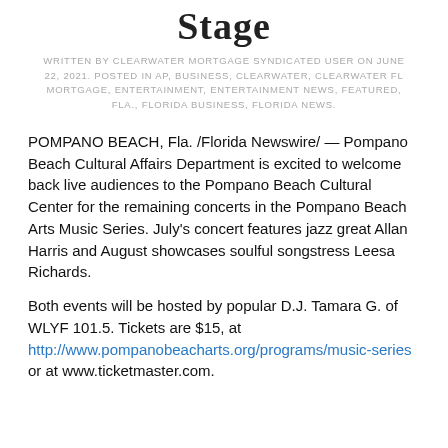Stage
WRITTEN BY CLEARWATER MORTGAGE SYNDICATED USER ON JUNE 22, 2021. POSTED IN AP, BUSINESS, CLEARWATER, CLEARWATER FL MORTGAGE, ENTERTAINMENT, ENTERTAINMENT NEWS, FEATURED, FLA., FLORIDA BUSINESS, FLORIDA NEWS.
POMPANO BEACH, Fla. /Florida Newswire/ — Pompano Beach Cultural Affairs Department is excited to welcome back live audiences to the Pompano Beach Cultural Center for the remaining concerts in the Pompano Beach Arts Music Series. July's concert features jazz great Allan Harris and August showcases soulful songstress Leesa Richards.
Both events will be hosted by popular D.J. Tamara G. of WLYF 101.5. Tickets are $15, at http://www.pompanobeacharts.org/programs/music-series or at www.ticketmaster.com.